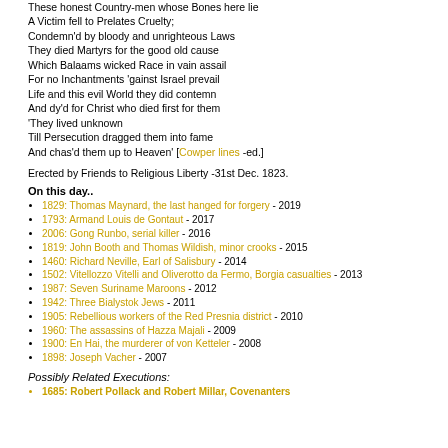These honest Country-men whose Bones here lie
A Victim fell to Prelates Cruelty;
Condemn'd by bloody and unrighteous Laws
They died Martyrs for the good old cause
Which Balaams wicked Race in vain assail
For no Inchantments 'gainst Israel prevail
Life and this evil World they did contemn
And dy'd for Christ who died first for them
'They lived unknown
Till Persecution dragged them into fame
And chas'd them up to Heaven' [Cowper lines -ed.]
Erected by Friends to Religious Liberty -31st Dec. 1823.
On this day..
1829: Thomas Maynard, the last hanged for forgery - 2019
1793: Armand Louis de Gontaut - 2017
2006: Gong Runbo, serial killer - 2016
1819: John Booth and Thomas Wildish, minor crooks - 2015
1460: Richard Neville, Earl of Salisbury - 2014
1502: Vitellozzo Vitelli and Oliverotto da Fermo, Borgia casualties - 2013
1987: Seven Suriname Maroons - 2012
1942: Three Bialystok Jews - 2011
1905: Rebellious workers of the Red Presnia district - 2010
1960: The assassins of Hazza Majali - 2009
1900: En Hai, the murderer of von Ketteler - 2008
1898: Joseph Vacher - 2007
Possibly Related Executions:
1685: Robert Pollack and Robert Millar, Covenanters